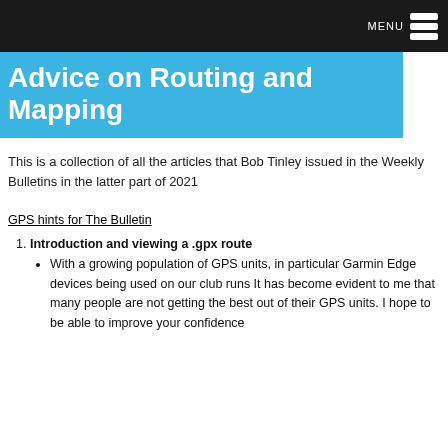MENU
Advice on Routing and Mapping
This is a collection of all the articles that Bob Tinley issued in the Weekly Bulletins in the latter part of 2021
GPS hints for The Bulletin
Introduction and viewing a .gpx route
With a growing population of GPS units, in particular Garmin Edge devices being used on our club runs It has become evident to me that many people are not getting the best out of their GPS units. I hope to be able to improve your confidence